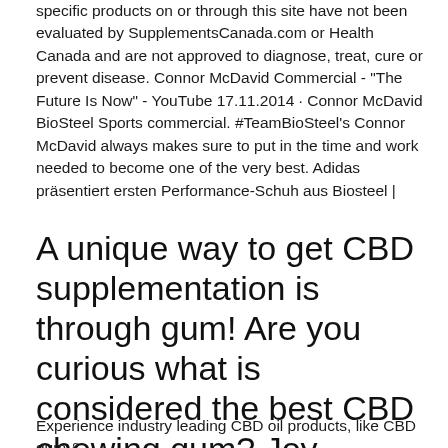specific products on or through this site have not been evaluated by SupplementsCanada.com or Health Canada and are not approved to diagnose, treat, cure or prevent disease. Connor McDavid Commercial - "The Future Is Now" - YouTube 17.11.2014 · Connor McDavid BioSteel Sports commercial. #TeamBioSteel's Connor McDavid always makes sure to put in the time and work needed to become one of the very best. Adidas präsentiert ersten Performance-Schuh aus Biosteel |
A unique way to get CBD supplementation is through gum! Are you curious what is considered the best CBD chewing gum? Joy Organics has the answers!
Experience industry leading CBD oil products, like CBD gum &